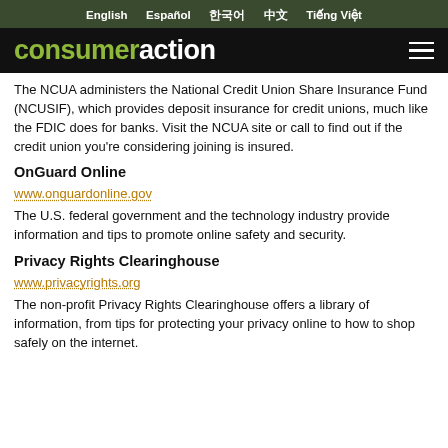English  Español  한국어  中文  Tiếng Việt
[Figure (logo): Consumer Action logo with hamburger menu on dark background]
The NCUA administers the National Credit Union Share Insurance Fund (NCUSIF), which provides deposit insurance for credit unions, much like the FDIC does for banks. Visit the NCUA site or call to find out if the credit union you're considering joining is insured.
OnGuard Online
www.onguardonline.gov
The U.S. federal government and the technology industry provide information and tips to promote online safety and security.
Privacy Rights Clearinghouse
www.privacyrights.org
The non-profit Privacy Rights Clearinghouse offers a library of information, from tips for protecting your privacy online to how to shop safely on the internet.